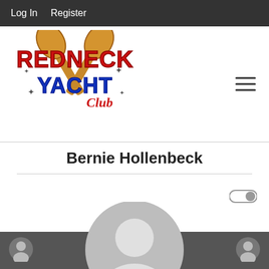Log In   Register
[Figure (logo): Redneck Yacht Club logo with crossed paddles and stylized text in red, blue, and white]
Bernie Hollenbeck
[Figure (illustration): Default grey user avatar / profile picture placeholder (circle with person silhouette)]
< >